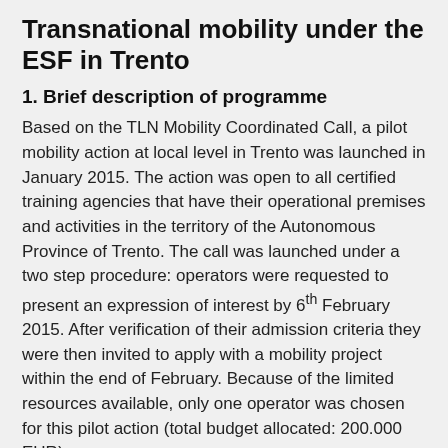Transnational mobility under the ESF in Trento
1. Brief description of programme
Based on the TLN Mobility Coordinated Call, a pilot mobility action at local level in Trento was launched in January 2015. The action was open to all certified training agencies that have their operational premises and activities in the territory of the Autonomous Province of Trento. The call was launched under a two step procedure: operators were requested to present an expression of interest by 6th February 2015. After verification of their admission criteria they were then invited to apply with a mobility project within the end of February. Because of the limited resources available, only one operator was chosen for this pilot action (total budget allocated: 200.000 EUR).
The project was required to run a two-way mobility action: 1. sending abroad 24 people to Germany (in two groups) and a group of 12 people to Spain; 2. hosting two groups of 5 people, one from each of the two countries.